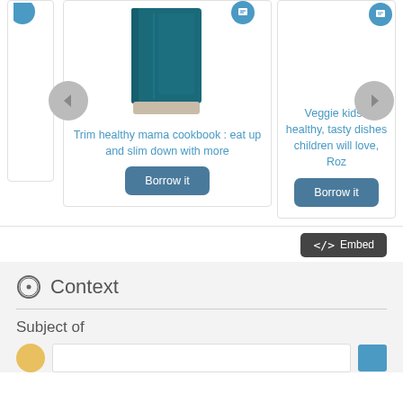[Figure (screenshot): Carousel of book cards showing 'Trim healthy mama cookbook: eat up and slim down with more' and 'Veggie kids: healthy, tasty dishes children will love, Roz' with Borrow it buttons and navigation arrows]
Trim healthy mama cookbook : eat up and slim down with more
Veggie kids : healthy, tasty dishes children will love, Roz
Borrow it
Borrow it
</> Embed
Context
Subject of